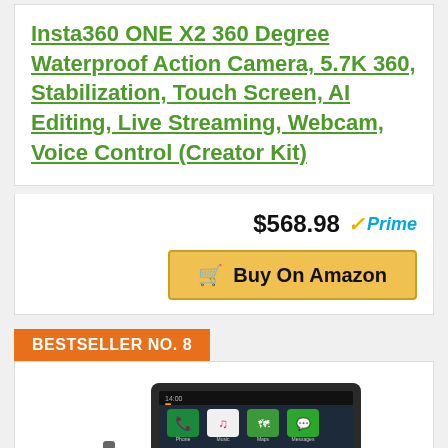Insta360 ONE X2 360 Degree Waterproof Action Camera, 5.7K 360, Stabilization, Touch Screen, AI Editing, Live Streaming, Webcam, Voice Control (Creator Kit)
$568.98 Prime
Buy On Amazon
BESTSELLER NO. 8
[Figure (photo): Car infotainment tablet/screen showing Apple CarPlay interface with app icons including Phone, Music, Maps, Messages, Now Playing, Podcasts, Google Maps, and more.]